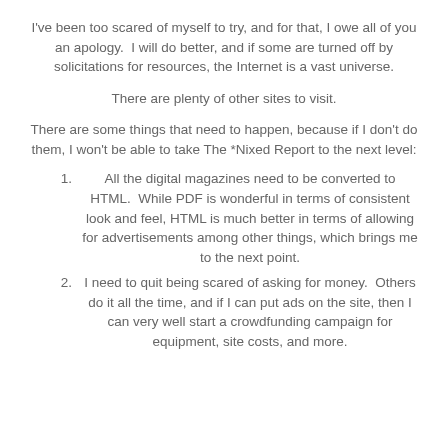I've been too scared of myself to try, and for that, I owe all of you an apology.  I will do better, and if some are turned off by solicitations for resources, the Internet is a vast universe.
There are plenty of other sites to visit.
There are some things that need to happen, because if I don't do them, I won't be able to take The *Nixed Report to the next level:
All the digital magazines need to be converted to HTML.  While PDF is wonderful in terms of consistent look and feel, HTML is much better in terms of allowing for advertisements among other things, which brings me to the next point.
I need to quit being scared of asking for money.  Others do it all the time, and if I can put ads on the site, then I can very well start a crowdfunding campaign for equipment, site costs, and more.